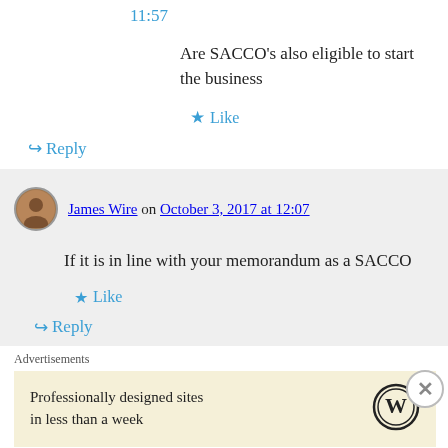11:57
Are SACCO's also eligible to start the business
★ Like
↪ Reply
James Wire on October 3, 2017 at 12:07
If it is in line with your memorandum as a SACCO
★ Like
↪ Reply
Advertisements
Professionally designed sites in less than a week